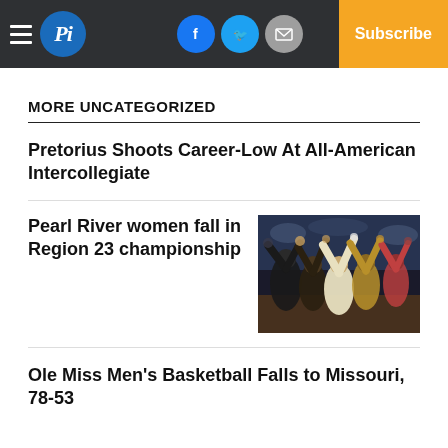Pi — Log In | Subscribe
MORE UNCATEGORIZED
Pretorius Shoots Career-Low At All-American Intercollegiate
Pearl River women fall in Region 23 championship
[Figure (photo): Basketball team huddle with players raising hands]
Ole Miss Men's Basketball Falls to Missouri, 78-53